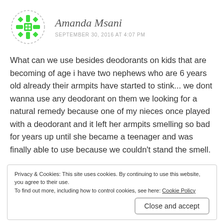[Figure (logo): Green geometric snowflake/asterisk avatar icon with dashed circular border]
Amanda Msani
SEPTEMBER 30, 2016 AT 4:07 PM
What can we use besides deodorants on kids that are becoming of age i have two nephews who are 6 years old already their armpits have started to stink... we dont wanna use any deodorant on them we looking for a natural remedy because one of my nieces once played with a deodorant and it left her armpits smelling so bad for years up until she became a teenager and was finally able to use because we couldn't stand the smell.
Privacy & Cookies: This site uses cookies. By continuing to use this website, you agree to their use.
To find out more, including how to control cookies, see here: Cookie Policy
Close and accept